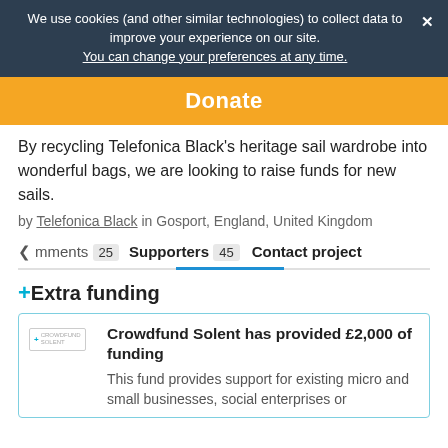We use cookies (and other similar technologies) to collect data to improve your experience on our site. You can change your preferences at any time.
Donate
By recycling Telefonica Black's heritage sail wardrobe into wonderful bags, we are looking to raise funds for new sails.
by Telefonica Black in Gosport, England, United Kingdom
Comments 25  Supporters 45  Contact project
+Extra funding
Crowdfund Solent has provided £2,000 of funding
This fund provides support for existing micro and small businesses, social enterprises or